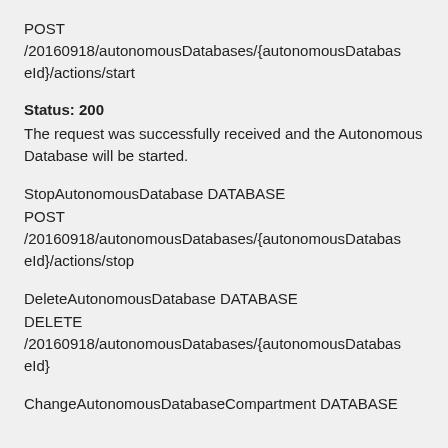POST /20160918/autonomousDatabases/{autonomousDatabaseId}/actions/start
Status: 200
The request was successfully received and the Autonomous Database will be started.
StopAutonomousDatabase DATABASE
POST /20160918/autonomousDatabases/{autonomousDatabaseId}/actions/stop
DeleteAutonomousDatabase DATABASE
DELETE /20160918/autonomousDatabases/{autonomousDatabaseId}
ChangeAutonomousDatabaseCompartment DATABASE